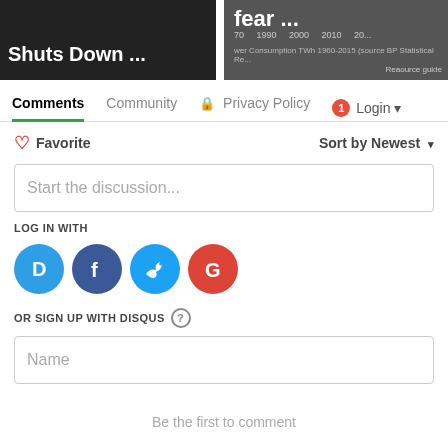[Figure (screenshot): Two thumbnail images side by side: left shows a dark image with text 'Shuts Down ...' in white bold, right shows a chart with axis labels '1990 2000 2010 20...' and text 'fear ...' in white bold at top, with caption 'Power Consumption TWh 1960-2015 (source BP Statistical Re...']
Comments  Community  🔒 Privacy Policy  🔴1  Login ▾
♡ Favorite    Sort by Newest ▾
Start the discussion...
LOG IN WITH
[Figure (logo): Social login icons: Disqus (D, blue circle), Facebook (f, dark blue circle), Twitter (bird, light blue circle), Google (G, red circle)]
OR SIGN UP WITH DISQUS ?
Name
Be the first to comment